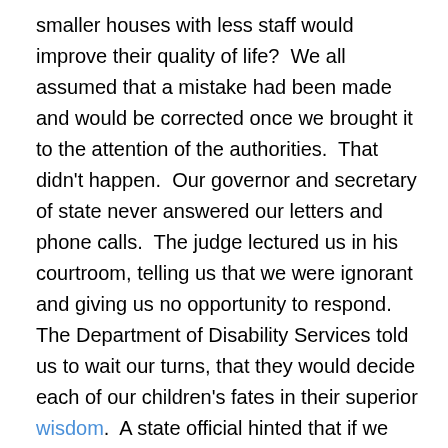smaller houses with less staff would improve their quality of life?  We all assumed that a mistake had been made and would be corrected once we brought it to the attention of the authorities.  That didn't happen.  Our governor and secretary of state never answered our letters and phone calls.  The judge lectured us in his courtroom, telling us that we were ignorant and giving us no opportunity to respond.  The Department of Disability Services told us to wait our turns, that they would decide each of our children's fates in their superior wisdom.  A state official hinted that if we offered too much resistance she would look into revoking our facility's license.  I was personally told to mind my business because they had put my daughter on a list of those less likely to be moved, with no explanation as to why others like her were on the likely moving list.